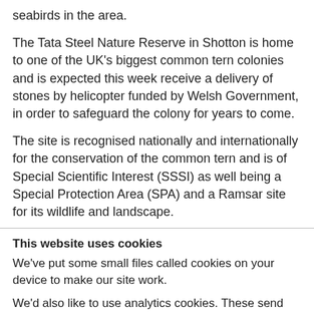seabirds in the area.
The Tata Steel Nature Reserve in Shotton is home to one of the UK's biggest common tern colonies and is expected this week receive a delivery of stones by helicopter funded by Welsh Government, in order to safeguard the colony for years to come.
The site is recognised nationally and internationally for the conservation of the common tern and is of Special Scientific Interest (SSSI) as well being a Special Protection Area (SPA) and a Ramsar site for its wildlife and landscape.
This website uses cookies
We've put some small files called cookies on your device to make our site work.
We'd also like to use analytics cookies. These send information about how our site is used to services called Hotjar and Google Analytics. We use this information to improve our site. Let us know if this is ok. We'll use a cookie to save your choice.